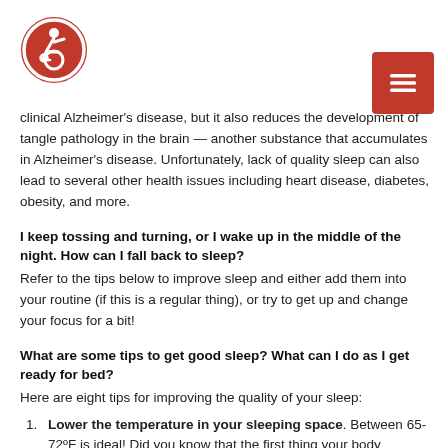[Figure (logo): Red circular accessibility/disability symbol logo with white figure icon]
[Figure (other): Red hamburger menu button in upper right corner]
clinical Alzheimer’s disease, but it also reduces the development of tangle pathology in the brain — another substance that accumulates in Alzheimer’s disease. Unfortunately, lack of quality sleep can also lead to several other health issues including heart disease, diabetes, obesity, and more.
I keep tossing and turning, or I wake up in the middle of the night. How can I fall back to sleep?
Refer to the tips below to improve sleep and either add them into your routine (if this is a regular thing), or try to get up and change your focus for a bit!
What are some tips to get good sleep? What can I do as I get ready for bed?
Here are eight tips for improving the quality of your sleep:
Lower the temperature in your sleeping space. Between 65-72°F is ideal! Did you know that the first thing your body